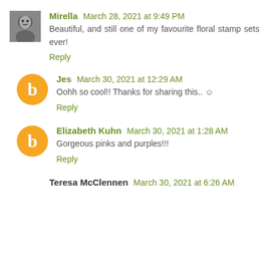Mirella March 28, 2021 at 9:49 PM
Beautiful, and still one of my favourite floral stamp sets ever!
Reply
Jes March 30, 2021 at 12:29 AM
Oohh so cool!! Thanks for sharing this.. ☺
Reply
Elizabeth Kuhn March 30, 2021 at 1:28 AM
Gorgeous pinks and purples!!!
Reply
Teresa McClennen March 30, 2021 at 6:26 AM